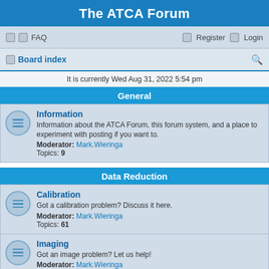The ATCA Forum
FAQ  Register  Login
Board index
It is currently Wed Aug 31, 2022 5:54 pm
General
Information
Information about the ATCA Forum, this forum system, and a place to experiment with posting if you want to.
Moderator: Mark.Wieringa
Topics: 9
Data Reduction
Calibration
Got a calibration problem? Discuss it here.
Moderator: Mark.Wieringa
Topics: 61
Imaging
Got an image problem? Let us help!
Moderator: Mark.Wieringa
Topics: 40
MIRIAD
Is MIRIAD being a pain? Let us know your experience.
Moderator: Mark.Wieringa